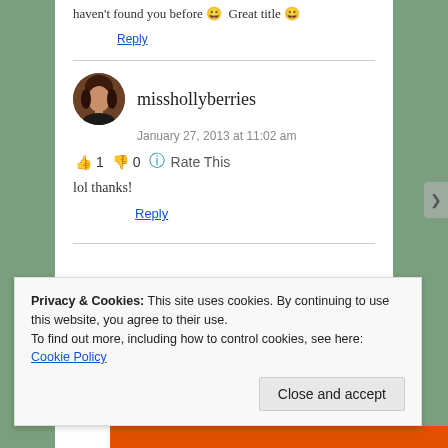haven't found you before 😀 Great title 😀
Reply
misshollyberries
January 27, 2013 at 11:02 am
👍 1 👎 0 🔵 Rate This
lol thanks!
Reply
Privacy & Cookies: This site uses cookies. By continuing to use this website, you agree to their use.
To find out more, including how to control cookies, see here: Cookie Policy
Close and accept